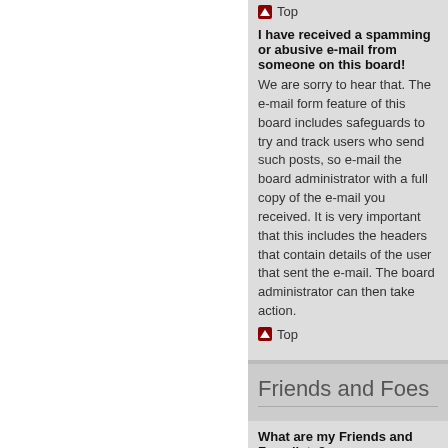Top
I have received a spamming or abusive e-mail from someone on this board!
We are sorry to hear that. The e-mail form feature of this board includes safeguards to try and track users who send such posts, so e-mail the board administrator with a full copy of the e-mail you received. It is very important that this includes the headers that contain details of the user that sent the e-mail. The board administrator can then take action.
Top
Friends and Foes
What are my Friends and Foes lists?
You can use these lists to organise other members of the board. Members added to your friends list will be listed within your User Control Panel for quick access to see their online status and to send them private messages. Subject to template support, posts from these users may also be highlighted. If you add a user to your foes list, any posts